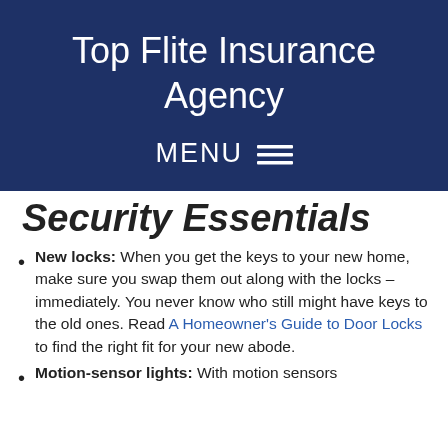Top Flite Insurance Agency
Security Essentials
New locks: When you get the keys to your new home, make sure you swap them out along with the locks – immediately. You never know who still might have keys to the old ones. Read A Homeowner's Guide to Door Locks to find the right fit for your new abode.
Motion-sensor lights: With motion sensors